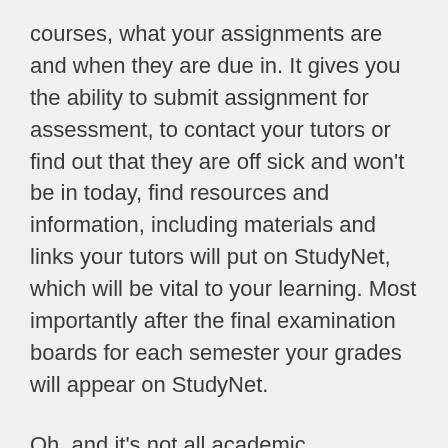courses, what your assignments are and when they are due in. It gives you the ability to submit assignment for assessment, to contact your tutors or find out that they are off sick and won't be in today, find resources and information, including materials and links your tutors will put on StudyNet, which will be vital to your learning. Most importantly after the final examination boards for each semester your grades will appear on StudyNet.
Oh, and it's not all academic information, there's plenty of social stuff, for example, what's on at The Forum. In fact, StudyNet's pretty much vital to your survival at UH.